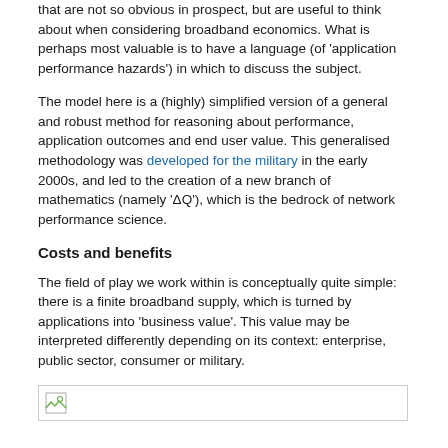that are not so obvious in prospect, but are useful to think about when considering broadband economics. What is perhaps most valuable is to have a language (of 'application performance hazards') in which to discuss the subject.
The model here is a (highly) simplified version of a general and robust method for reasoning about performance, application outcomes and end user value. This generalised methodology was developed for the military in the early 2000s, and led to the creation of a new branch of mathematics (namely 'ΔQ'), which is the bedrock of network performance science.
Costs and benefits
The field of play we work within is conceptually quite simple: there is a finite broadband supply, which is turned by applications into 'business value'. This value may be interpreted differently depending on its context: enterprise, public sector, consumer or military.
[Figure (other): Image placeholder (broken image icon) inside a bordered box]